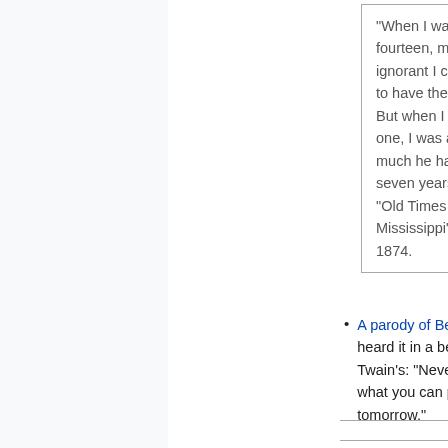"When I was a boy of fourteen, my father was so ignorant I could hardly stand to have the old man around. But when I got to be twenty-one, I was astonished at how much he had learned in seven years." Mark Twain, "Old Times on the Mississippi" Atlantic Monthly, 1874.
A parody of Ben Franklin [external link] by Twain. I heard it in a better version than Twain's: "Never put off till tomorrow what you can put off till the day after tomorrow."